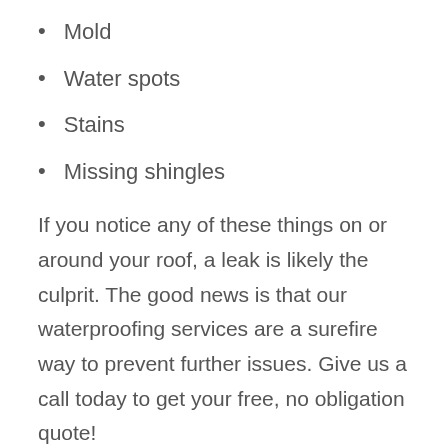Mold
Water spots
Stains
Missing shingles
If you notice any of these things on or around your roof, a leak is likely the culprit. The good news is that our waterproofing services are a surefire way to prevent further issues. Give us a call today to get your free, no obligation quote!
WATERPROOFING CAN HELP WITH LEAKS